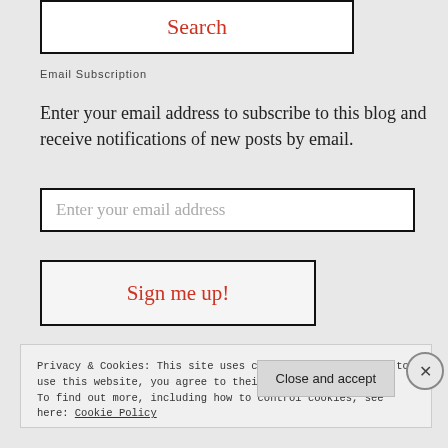[Figure (screenshot): Search button with black border and red 'Search' text on white background]
Email Subscription
Enter your email address to subscribe to this blog and receive notifications of new posts by email.
[Figure (screenshot): Email input field with placeholder text 'Enter your email address']
[Figure (screenshot): Sign me up! button with black border and red text]
Privacy & Cookies: This site uses cookies. By continuing to use this website, you agree to their use. To find out more, including how to control cookies, see here: Cookie Policy
Close and accept